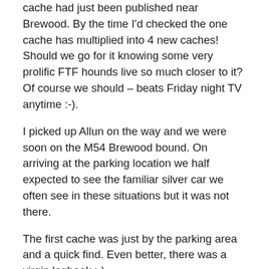cache had just been published near Brewood. By the time I'd checked the one cache has multiplied into 4 new caches! Should we go for it knowing some very prolific FTF hounds live so much closer to it? Of course we should – beats Friday night TV anytime :-).
I picked up Allun on the way and we were soon on the M54 Brewood bound. On arriving at the parking location we half expected to see the familiar silver car we often see in these situations but it was not there.
The first cache was just by the parking area and a quick find. Even better, there was a virgin logbook :-).
We then set off down the dark bridleway for the rest of the caches. The next two were quick finds and we then had the co-ords for the final cache of the series (it was one of those sets of caches where one cache has the co-ords for